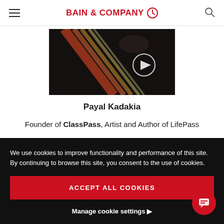BAIN & COMPANY
[Figure (photo): Video thumbnail showing a hand and colorful streaks of light with a play button overlay]
Payal Kadakia
Founder of ClassPass, Artist and Author of LifePass
WATCH VIDEO →
We use cookies to improve functionality and performance of this site. By continuing to browse this site, you consent to the use of cookies.
ACCEPT ALL COOKIES
Manage cookie settings ▶